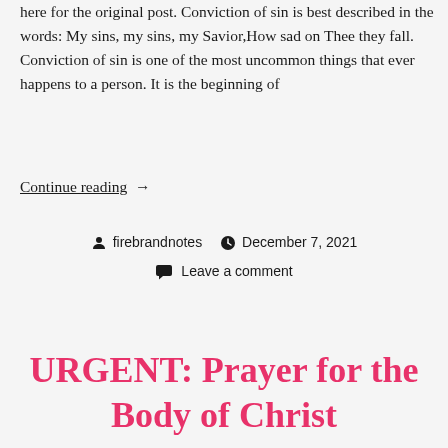here for the original post. Conviction of sin is best described in the words: My sins, my sins, my Savior,How sad on Thee they fall. Conviction of sin is one of the most uncommon things that ever happens to a person. It is the beginning of
Continue reading  →
firebrandnotes  December 7, 2021  Leave a comment
URGENT: Prayer for the Body of Christ